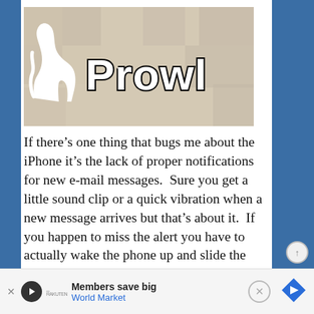[Figure (logo): Prowl app logo image: beige/tan background with pixel art squares, white cat silhouette on left, stylized 'Prowl' text in white with black outline on right]
If there’s one thing that bugs me about the iPhone it’s the lack of proper notifications for new e-mail messages.  Sure you get a little sound clip or a quick vibration when a new message arrives but that’s about it.  If you happen to miss the alert you have to actually wake the phone up and slide the unlock slider to check your mail icon for any new badge alerts.  Why there’s no default alert for mail like there is for text messages (you get a brief look
Members save big  World Market